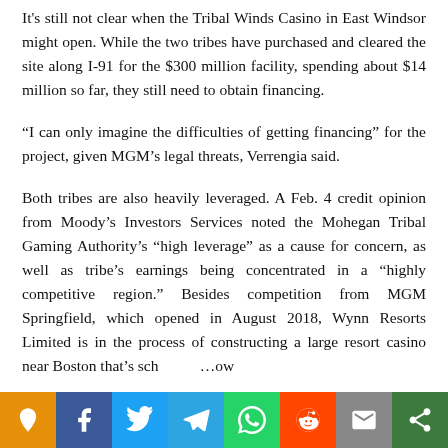It's still not clear when the Tribal Winds Casino in East Windsor might open. While the two tribes have purchased and cleared the site along I-91 for the $300 million facility, spending about $14 million so far, they still need to obtain financing.
“I can only imagine the difficulties of getting financing” for the project, given MGM’s legal threats, Verrengia said.
Both tribes are also heavily leveraged. A Feb. 4 credit opinion from Moody’s Investors Services noted the Mohegan Tribal Gaming Authority’s “high leverage” as a cause for concern, as well as tribe’s earnings being concentrated in a “highly competitive region.” Besides competition from MGM Springfield, which opened in August 2018, Wynn Resorts Limited is in the process of constructing a large resort casino near Boston that’s sch... ow